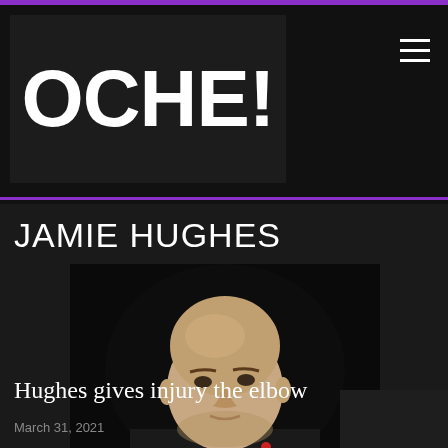OCHE!
JAMIE HUGHES
[Figure (photo): Bald man in black shirt looking to the side against dark background]
Hughes gives injury the elbow
March 31, 2021